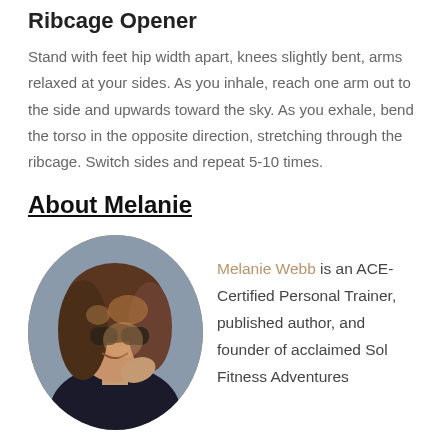Ribcage Opener
Stand with feet hip width apart, knees slightly bent, arms relaxed at your sides. As you inhale, reach one arm out to the side and upwards toward the sky. As you exhale, bend the torso in the opposite direction, stretching through the ribcage. Switch sides and repeat 5-10 times.
About Melanie
[Figure (photo): Circular portrait photo of Melanie Webb, a woman with wavy brown hair and sunglasses, smiling outdoors.]
Melanie Webb is an ACE-Certified Personal Trainer, published author, and founder of acclaimed Sol Fitness Adventures